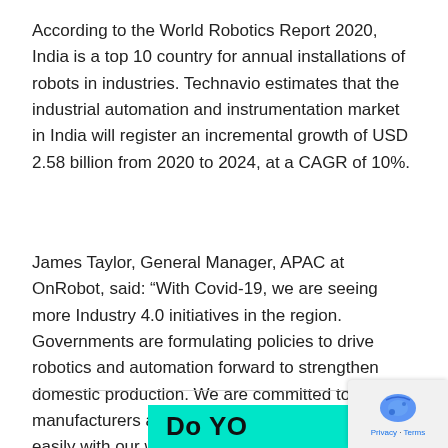According to the World Robotics Report 2020, India is a top 10 country for annual installations of robots in industries. Technavio estimates that the industrial automation and instrumentation market in India will register an incremental growth of USD 2.58 billion from 2020 to 2024, at a CAGR of 10%.
James Taylor, General Manager, APAC at OnRobot, said: “With Covid-19, we are seeing more Industry 4.0 initiatives in the region. Governments are formulating policies to drive robotics and automation forward to strengthen domestic production. We are committed to helping manufacturers adopt automation quickly and easily with our wide range of smart and flexible solutions like the VGP20.
Do YO